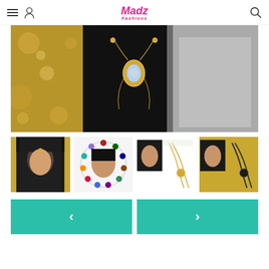Madz Fashions
[Figure (photo): Main product photo showing a woman in black head covering wearing an ornate gold body chain jewelry piece against a golden bokeh background]
[Figure (photo): Thumbnail 1: woman in black hijab with gemstone forehead jewelry, smiling]
[Figure (photo): Thumbnail 2: circular arrangement of colorful gemstones around a woman's portrait]
[Figure (photo): Thumbnail 3: product photo with woman and gold jewelry chain details]
[Figure (photo): Thumbnail 4: product photo with woman and dark jewelry chain details]